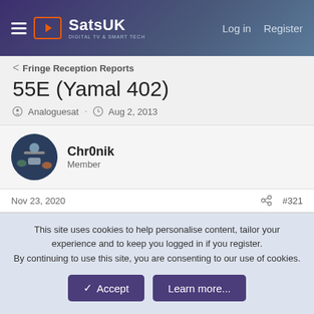SatsUK — Log in  Register
< Fringe Reception Reports
55E (Yamal 402)
Analoguesat · Aug 2, 2013
Chr0nik
Member
Nov 23, 2020  #321
I've had a look at this one with a 1.2m CM and currently getting between 10db and 11db on 12654v.
This site uses cookies to help personalise content, tailor your experience and to keep you logged in if you register.
By continuing to use this site, you are consenting to our use of cookies.